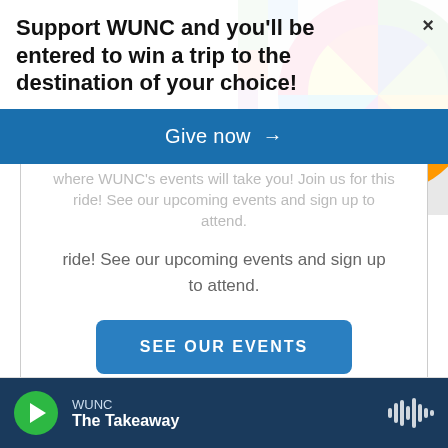[Figure (illustration): Colorful abstract geometric art in top-right corner with circles and shapes in green, teal, yellow, red, pink, orange, purple, blue]
Support WUNC and you'll be entered to win a trip to the destination of your choice!
×
Give now →
where WUNC's events will take you! Join us for this ride! See our upcoming events and sign up to attend.
SEE OUR EVENTS
WUNC The Takeaway